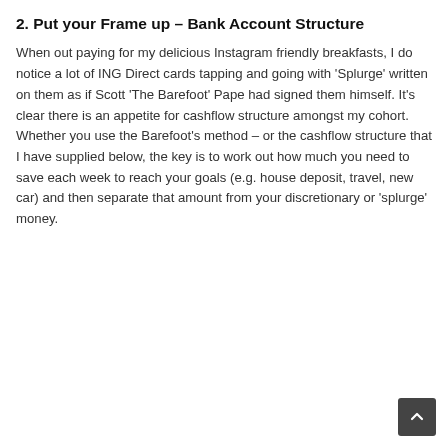2. Put your Frame up – Bank Account Structure
When out paying for my delicious Instagram friendly breakfasts, I do notice a lot of ING Direct cards tapping and going with 'Splurge' written on them as if Scott 'The Barefoot' Pape had signed them himself. It's clear there is an appetite for cashflow structure amongst my cohort. Whether you use the Barefoot's method – or the cashflow structure that I have supplied below, the key is to work out how much you need to save each week to reach your goals (e.g. house deposit, travel, new car) and then separate that amount from your discretionary or 'splurge' money.